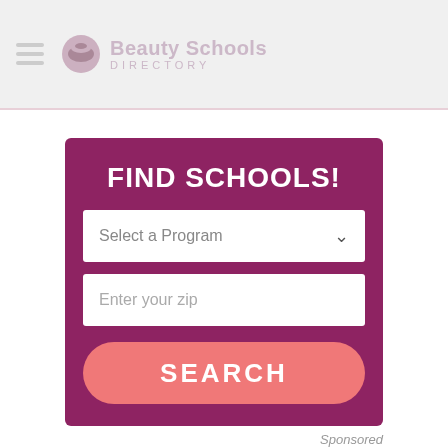Beauty Schools Directory
FIND SCHOOLS!
Select a Program
Enter your zip
SEARCH
Sponsored